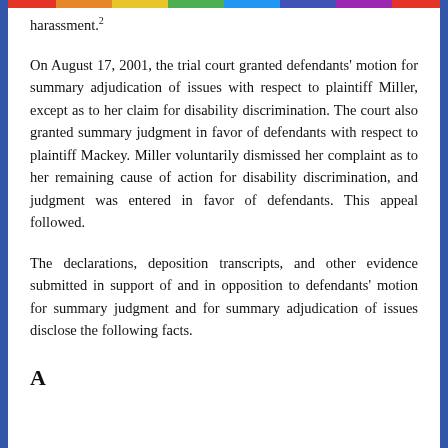harassment. 2
On August 17, 2001, the trial court granted defendants' motion for summary adjudication of issues with respect to plaintiff Miller, except as to her claim for disability discrimination. The court also granted summary judgment in favor of defendants with respect to plaintiff Mackey. Miller voluntarily dismissed her complaint as to her remaining cause of action for disability discrimination, and judgment was entered in favor of defendants. This appeal followed.
The declarations, deposition transcripts, and other evidence submitted in support of and in opposition to defendants' motion for summary judgment and for summary adjudication of issues disclose the following facts.
A